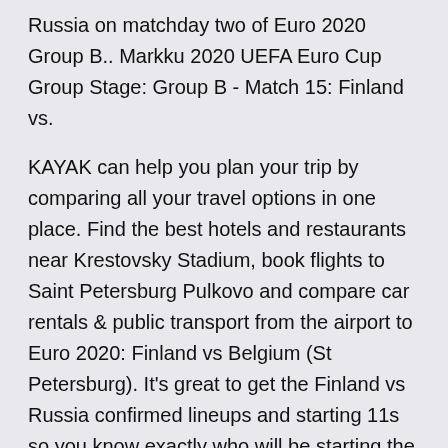Russia on matchday two of Euro 2020 Group B.. Markku 2020 UEFA Euro Cup Group Stage: Group B - Match 15: Finland vs.
KAYAK can help you plan your trip by comparing all your travel options in one place. Find the best hotels and restaurants near Krestovsky Stadium, book flights to Saint Petersburg Pulkovo and compare car rentals & public transport from the airport to Euro 2020: Finland vs Belgium (St Petersburg). It's great to get the Finland vs Russia confirmed lineups and starting 11s so you know exactly who will be starting the match along with the team formation and substitutes. The official teams and elevens are published one hour before kick-off so you have all the information for this Euro 2020 match. · Denmark vs Finland: Euros prediction, kick off time, team news, TV, live stream, venue, h2h results, odds -